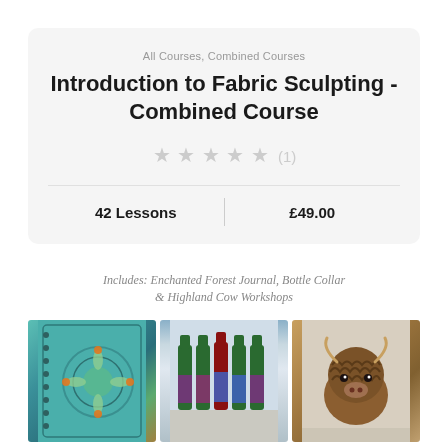All Courses, Combined Courses
Introduction to Fabric Sculpting - Combined Course
★★★★★ (1)
42 Lessons | £49.00
Includes: Enchanted Forest Journal, Bottle Collar & Highland Cow Workshops
[Figure (photo): Three product photos side by side: a decorative teal journal with embossed design, four wine bottles with ornate fabric collars, and a highland cow sculptural figure made of fabric]